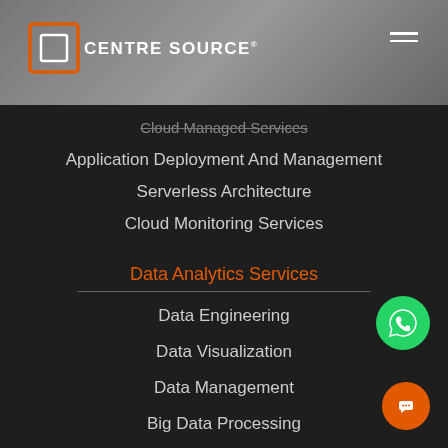[Figure (logo): Centre Source logo with orange bracket icon and white text]
Cloud Managed Services
Application Deployment And Management
Serverless Architecture
Cloud Monitoring Services
Data Analytics Services
Data Engineering
Data Visualization
Data Management
Big Data Processing